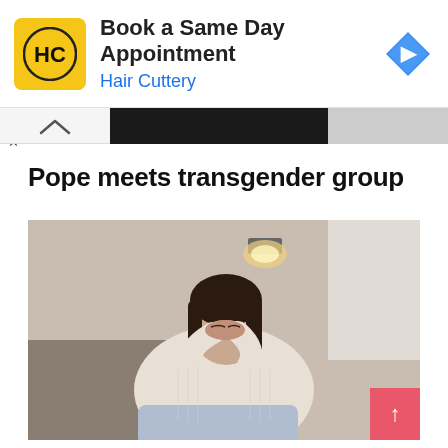[Figure (other): Hair Cuttery advertisement banner with yellow logo, text 'Book a Same Day Appointment / Hair Cuttery', and blue diamond navigation arrow icon on the right]
Pope meets transgender group
[Figure (photo): A young woman with dark hair wearing a white ribbed sweater and light blue jeans, sitting and pressing her hands together against her forehead with eyes closed, in a contemplative or prayerful pose. Soft interior lighting from a wall sconce in background.]